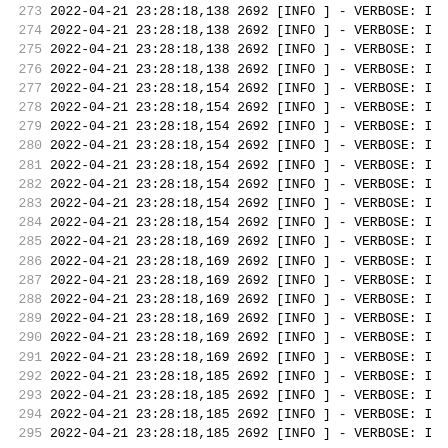273  2022-04-21 23:28:18,138 2692 [INFO ] - VERBOSE: I
274  2022-04-21 23:28:18,138 2692 [INFO ] - VERBOSE: I
275  2022-04-21 23:28:18,138 2692 [INFO ] - VERBOSE: I
276  2022-04-21 23:28:18,138 2692 [INFO ] - VERBOSE: I
277  2022-04-21 23:28:18,154 2692 [INFO ] - VERBOSE: I
278  2022-04-21 23:28:18,154 2692 [INFO ] - VERBOSE: I
279  2022-04-21 23:28:18,154 2692 [INFO ] - VERBOSE: I
280  2022-04-21 23:28:18,154 2692 [INFO ] - VERBOSE: I
281  2022-04-21 23:28:18,154 2692 [INFO ] - VERBOSE: I
282  2022-04-21 23:28:18,154 2692 [INFO ] - VERBOSE: I
283  2022-04-21 23:28:18,154 2692 [INFO ] - VERBOSE: I
284  2022-04-21 23:28:18,154 2692 [INFO ] - VERBOSE: I
285  2022-04-21 23:28:18,169 2692 [INFO ] - VERBOSE: I
286  2022-04-21 23:28:18,169 2692 [INFO ] - VERBOSE: I
287  2022-04-21 23:28:18,169 2692 [INFO ] - VERBOSE: I
288  2022-04-21 23:28:18,169 2692 [INFO ] - VERBOSE: I
289  2022-04-21 23:28:18,169 2692 [INFO ] - VERBOSE: I
290  2022-04-21 23:28:18,169 2692 [INFO ] - VERBOSE: I
291  2022-04-21 23:28:18,169 2692 [INFO ] - VERBOSE: I
292  2022-04-21 23:28:18,185 2692 [INFO ] - VERBOSE: I
293  2022-04-21 23:28:18,185 2692 [INFO ] - VERBOSE: I
294  2022-04-21 23:28:18,185 2692 [INFO ] - VERBOSE: I
295  2022-04-21 23:28:18,185 2692 [INFO ] - VERBOSE: I